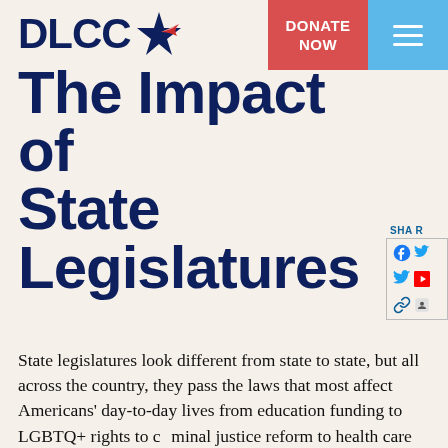DLCC
The Impact of State Legislatures
[Figure (other): Share panel with Facebook, Twitter, and link icons on the right side]
State legislatures look different from state to state, but all across the country, they pass the laws that most affect Americans' day-to-day lives from education funding to LGBTQ+ rights to criminal justice reform to health care and more. Because state legislative districts are much smaller than congressional districts, state legislators are attuned to the needs of their community, accessible to their constituents, and